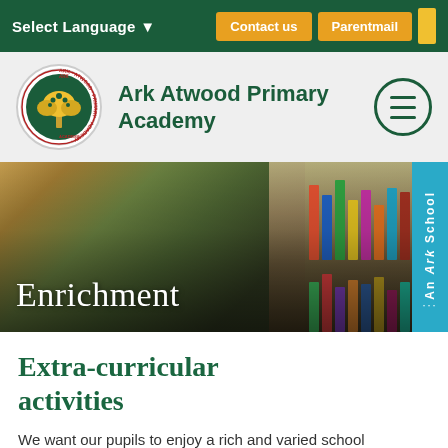Select Language | Contact us | Parentmail
[Figure (logo): Ark Atwood Primary Academy circular school logo with tree]
Ark Atwood Primary Academy
[Figure (photo): Child reading a book in a library, hero banner image with text 'Enrichment']
Extra-curricular activities
We want our pupils to enjoy a rich and varied school